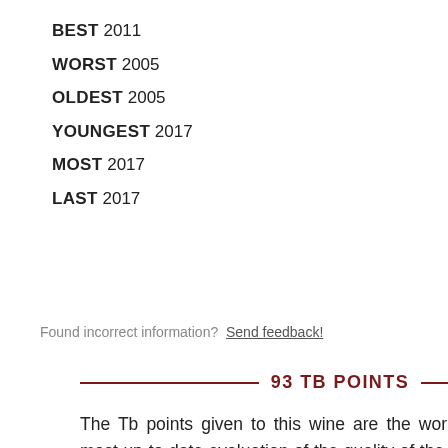BEST 2011
WORST 2005
OLDEST 2005
YOUNGEST 2017
MOST 2017
LAST 2017
Found incorrect information?  Send feedback!
93 TB POINTS
The Tb points given to this wine are the world's most valid and most up-to-date evaluation of the quality of the wine. Tastingbook points are formed by the Tastingbook algorithm